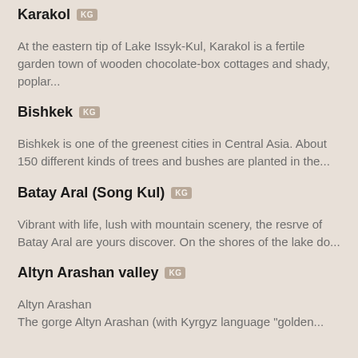Karakol KG
At the eastern tip of Lake Issyk-Kul, Karakol is a fertile garden town of wooden chocolate-box cottages and shady, poplar...
Bishkek KG
Bishkek is one of the greenest cities in Central Asia. About 150 different kinds of trees and bushes are planted in the...
Batay Aral (Song Kul) KG
Vibrant with life, lush with mountain scenery, the resrve of Batay Aral are yours discover. On the shores of the lake do...
Altyn Arashan valley KG
Altyn Arashan
The gorge Altyn Arashan (with Kyrgyz language "golden...